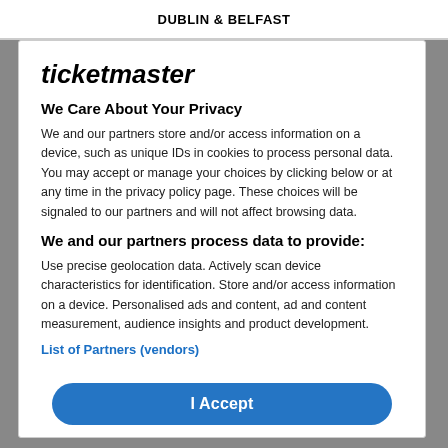DUBLIN & BELFAST
ticketmaster
We Care About Your Privacy
We and our partners store and/or access information on a device, such as unique IDs in cookies to process personal data. You may accept or manage your choices by clicking below or at any time in the privacy policy page. These choices will be signaled to our partners and will not affect browsing data.
We and our partners process data to provide:
Use precise geolocation data. Actively scan device characteristics for identification. Store and/or access information on a device. Personalised ads and content, ad and content measurement, audience insights and product development.
List of Partners (vendors)
I Accept